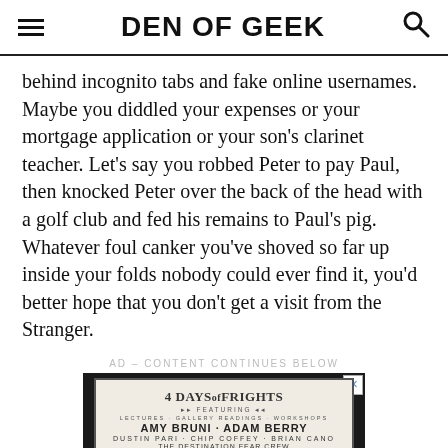DEN OF GEEK
behind incognito tabs and fake online usernames. Maybe you diddled your expenses or your mortgage application or your son's clarinet teacher. Let's say you robbed Peter to pay Paul, then knocked Peter over the back of the head with a golf club and fed his remains to Paul's pig. Whatever foul canker you've shoved so far up inside your folds nobody could ever find it, you'd better hope that you don't get a visit from the Stranger.
AD – CONTENT CONTINUES BELOW
[Figure (infographic): Advertisement for '4 Days of Frights' event featuring Amy Bruni, Adam Berry, Dustin Pari, Chip Coffey, Brian Cano, The Destination Fear Crew, Shane Pittman, Rachel Stratton, Brian Murray, The Ghost Brothers]
[Figure (infographic): Victoria's Secret advertisement showing a woman and text 'SHOP THE COLLECTION' with a 'SHOP NOW' button]